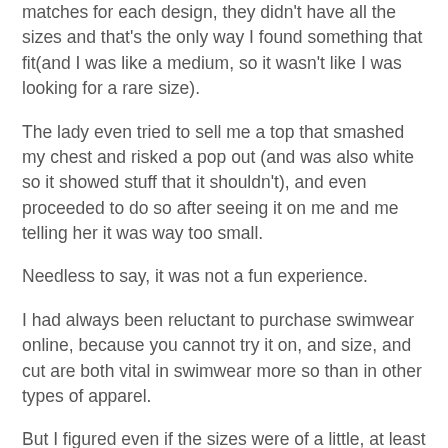matches for each design, they didn't have all the sizes and that's the only way I found something that fit(and I was like a medium, so it wasn't like I was looking for a rare size).
The lady even tried to sell me a top that smashed my chest and risked a pop out (and was also white so it showed stuff that it shouldn't), and even proceeded to do so after seeing it on me and me telling her it was way too small.
Needless to say, it was not a fun experience.
I had always been reluctant to purchase swimwear online, because you cannot try it on, and size, and cut are both vital in swimwear more so than in other types of apparel.
But I figured even if the sizes were of a little, at least the right ones should be in stock, and if not, it's much easier to shop a few sites than to walk(or drive) to multiple stores and manually look through everything and check sizes.
I figured it definitely could not be worse than my store experiences, so I would do it. But I still needed to find the